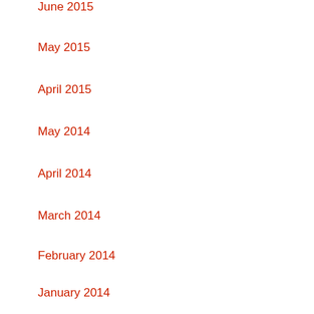June 2015
May 2015
April 2015
May 2014
April 2014
March 2014
February 2014
January 2014
Categories
Ar...